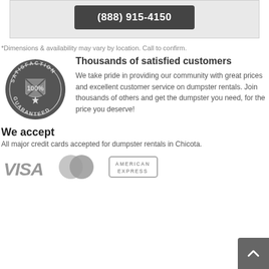[Figure (other): Dark rounded rectangle button with phone number (888) 915-4150 in white text on grey background]
*Dimensions & availability may vary by location. Call to confirm.
[Figure (illustration): Satisfaction Guaranteed 100% badge/seal in dark grey circular design with shield and star motif]
Thousands of satisfied customers
We take pride in providing our community with great prices and excellent customer service on dumpster rentals. Join thousands of others and get the dumpster you need, for the price you deserve!
We accept
All major credit cards accepted for dumpster rentals in Chicota.
[Figure (logo): VISA logo in grey]
[Figure (logo): MasterCard logo in grey overlapping circles]
[Figure (logo): American Express logo in grey]